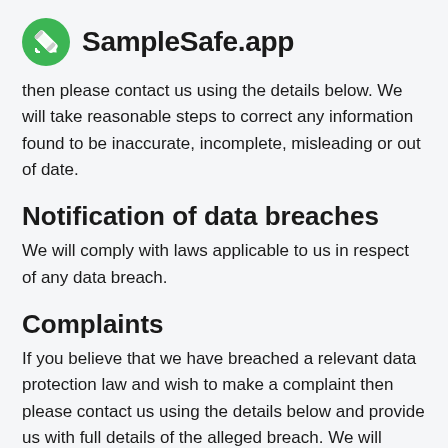SampleSafe.app
then please contact us using the details below. We will take reasonable steps to correct any information found to be inaccurate, incomplete, misleading or out of date.
Notification of data breaches
We will comply with laws applicable to us in respect of any data breach.
Complaints
If you believe that we have breached a relevant data protection law and wish to make a complaint then please contact us using the details below and provide us with full details of the alleged breach. We will promptly investigate your complaint and respond to you, in writing, setting out the outcome of our investigation and the steps we will take to deal with your complaint. You also have the right to